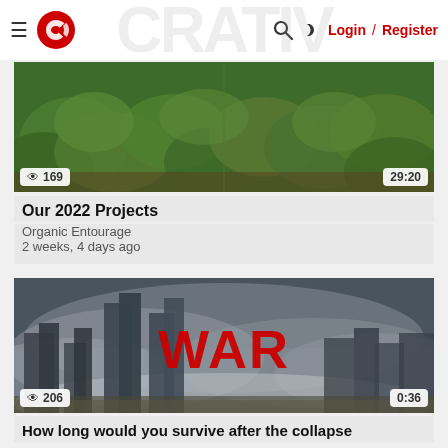Login / Register
[Figure (screenshot): Video thumbnail showing green leafy plants/garden]
169 views · 29:20
Our 2022 Projects
Organic Entourage
2 weeks, 4 days ago
[Figure (screenshot): Video thumbnail showing a destroyed city skyline with fog/smoke and bold red text WAR]
206 views · 0:36
How long would you survive after the collapse